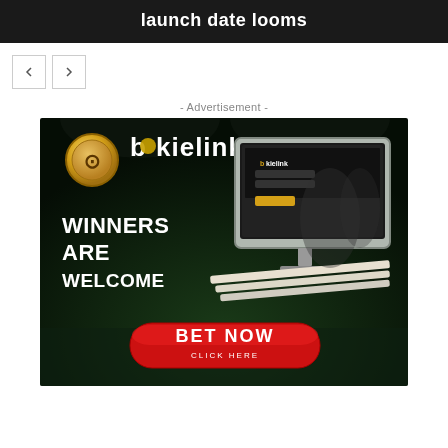launch date looms
[Figure (screenshot): Navigation prev/next arrow buttons]
- Advertisement -
[Figure (photo): Bokielink advertisement banner: logo with gold coin icon, text 'WINNERS ARE WELCOME', computer monitor mockup, red 'BET NOW CLICK HERE' button, dark green stadium background]